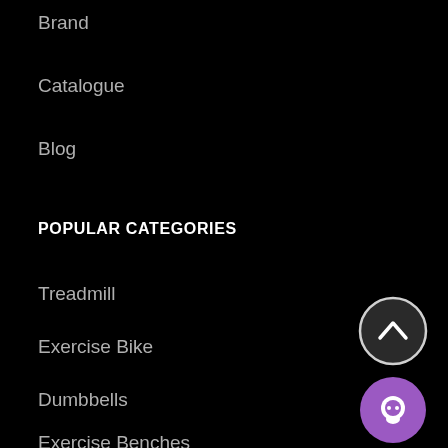Brand
Catalogue
Blog
POPULAR CATEGORIES
Treadmill
Exercise Bike
Dumbbells
Exercise Benches
Multi Station Gym Set
Christmas
BoxingDay Sale
Black Friday
[Figure (illustration): Dark circular scroll-to-top button with upward chevron arrow icon]
[Figure (illustration): Purple circular chat/support button with speech bubble icon]